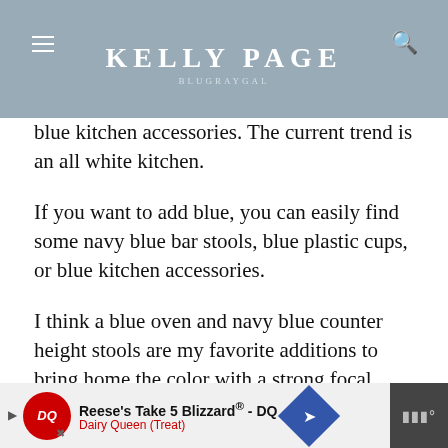KELLY PAGE
BLUEGRAYGAL
blue kitchen accessories. The current trend is an all white kitchen.
If you want to add blue, you can easily find some navy blue bar stools, blue plastic cups, or blue kitchen accessories.
I think a blue oven and navy blue counter height stools are my favorite additions to bring home the color with a strong focal point. But here are some great navy blue kitchen decor ideas to add in the blue color to your kitchen if you want to start slowly.
[Figure (infographic): Dairy Queen advertisement banner: Reese's Take 5 Blizzard® - DQ, Dairy Queen (Treat)]